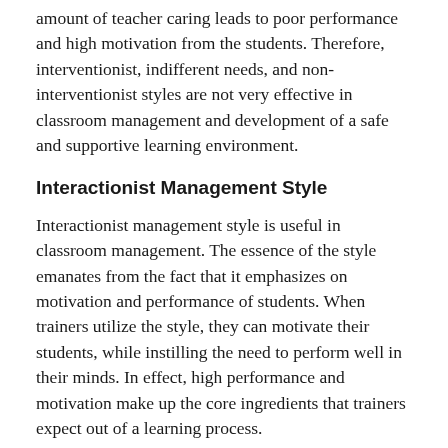amount of teacher caring leads to poor performance and high motivation from the students. Therefore, interventionist, indifferent needs, and non-interventionist styles are not very effective in classroom management and development of a safe and supportive learning environment.
Interactionist Management Style
Interactionist management style is useful in classroom management. The essence of the style emanates from the fact that it emphasizes on motivation and performance of students. When trainers utilize the style, they can motivate their students, while instilling the need to perform well in their minds. In effect, high performance and motivation make up the core ingredients that trainers expect out of a learning process.
Since interactionist style of management encompasses the elements of teacher caring and